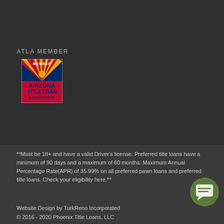ATLA MEMBER
[Figure (logo): Arizona Title Loan Association member logo with Arizona state flag design, showing 'MEMBER ARIZONA TITLE LOAN ASSOCIATION' text]
**Must be 18+ and have a valid Driver's license. Preferred title loans have a minimum of 90 days and a maximum of 60 months. Maximum Annual Percentage Rate(APR) of 35.99% on all preferred pawn loans and preferred title loans. Check your eligibility here.**
Website Design by TurkReno Incorporated
© 2016 - 2020 Phoenix Title Loans, LLC